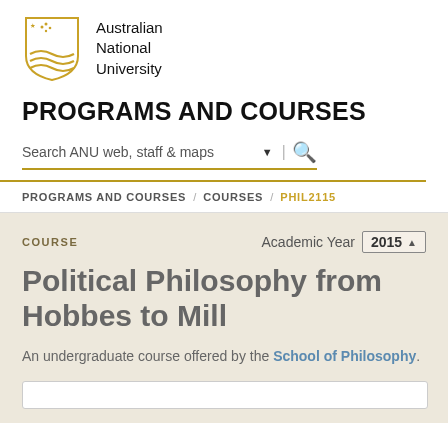[Figure (logo): Australian National University shield logo]
Australian National University
PROGRAMS AND COURSES
Search ANU web, staff & maps
PROGRAMS AND COURSES / COURSES / PHIL2115
COURSE
Academic Year 2015
Political Philosophy from Hobbes to Mill
An undergraduate course offered by the School of Philosophy.